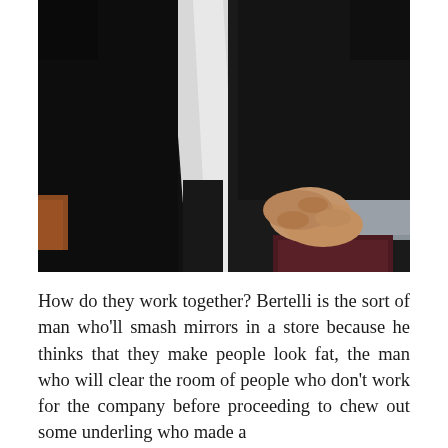[Figure (photo): Two people standing close together, both wearing dark clothing. The person on the left wears a black jacket over a white shirt; the person on the right wears a black jacket with a grey cuff visible. Their hands are clasped together in front. Background is dark.]
How do they work together? Bertelli is the sort of man who'll smash mirrors in a store because he thinks that they make people look fat, the man who will clear the room of people who don't work for the company before proceeding to chew out some underling who made a